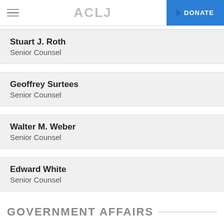ACLJ | DONATE
Stuart J. Roth
Senior Counsel
Geoffrey Surtees
Senior Counsel
Walter M. Weber
Senior Counsel
Edward White
Senior Counsel
GOVERNMENT AFFAIRS